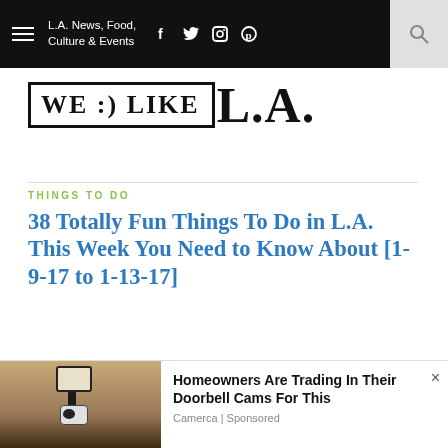L.A. News, Food, Culture & Events
[Figure (logo): WE:)LIKE L.A. website logo with boxed text WE:)LIKE and large L.A. text]
THINGS TO DO
38 Totally Fun Things To Do in L.A. This Week You Need to Know About [1-9-17 to 1-13-17]
JANUARY 9, 2017 BY CHRISTINA CHAMPLIN
[Figure (other): Advertisement: Homeowners Are Trading In Their Doorbell Cams For This - Camerca Sponsored, with image of outdoor lamp/camera]
Homeowners Are Trading In Their Doorbell Cams For This
Camerca | Sponsored